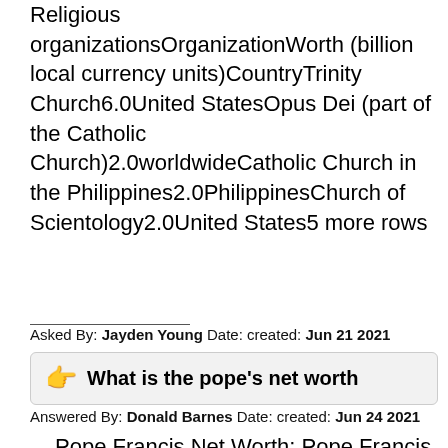| Organization | Worth (billion local currency units) | Country |
| --- | --- | --- |
| Trinity Church | 6.0 | United States |
| Opus Dei (part of the Catholic Church) | 2.0 | worldwide |
| Catholic Church in the Philippines | 2.0 | Philippines |
| Church of Scientology | 2.0 | United States |
| 5 more rows |  |  |
Asked By: Jayden Young Date: created: Jun 21 2021
What is the pope's net worth
Answered By: Donald Barnes Date: created: Jun 24 2021
Pope Francis Net Worth: Pope Francis is the 266th and current Pope and sovereign of the Vatican City